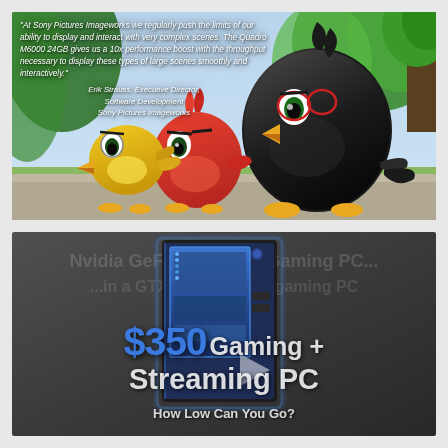[Figure (screenshot): Angry Birds Movie animated scene with three birds (yellow Chuck, red Red, black Bomb) in a tropical jungle setting. Overlaid white italic text quote from Erik Strauss, Executive Director, Software Development, Sony Pictures Imageworks about Quadro M6000 24GB performance.]
[Figure (screenshot): Dark background with a blue illuminated PC gaming case (tower). Text overlay shows '$350' in blue bold font, 'Gaming + Streaming PC' in white bold text, and 'How Low Can You Go?' below. Background watermark text partially visible.]